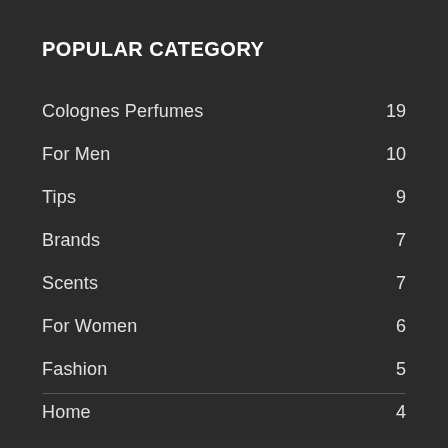POPULAR CATEGORY
Colognes Perfumes 19
For Men 10
Tips 9
Brands 7
Scents 7
For Women 6
Fashion 5
Home 4
Blog 4